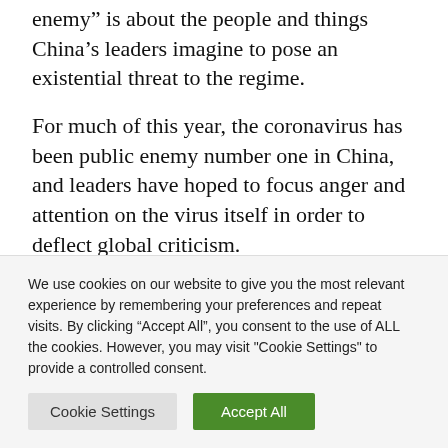enemy” is about the people and things China’s leaders imagine to pose an existential threat to the regime.
For much of this year, the coronavirus has been public enemy number one in China, and leaders have hoped to focus anger and attention on the virus itself in order to deflect global criticism.
We use cookies on our website to give you the most relevant experience by remembering your preferences and repeat visits. By clicking “Accept All”, you consent to the use of ALL the cookies. However, you may visit "Cookie Settings" to provide a controlled consent.